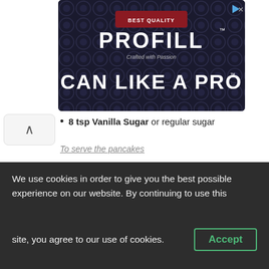[Figure (screenshot): Advertisement banner for PROFILL 'Can Like a Pro' product with dark background and circular caps pattern]
8 tsp Vanilla Sugar or regular sugar
To serve the pancakes
Whipped cream
Maple Syrup
[Figure (screenshot): Make Recipe button (purple) powered by chicory logo]
[Figure (photo): Product images: cherries and Domino sugar box]
Advertisements
We use cookies in order to give you the best possible experience on our website. By continuing to use this site, you agree to our use of cookies.
Accept